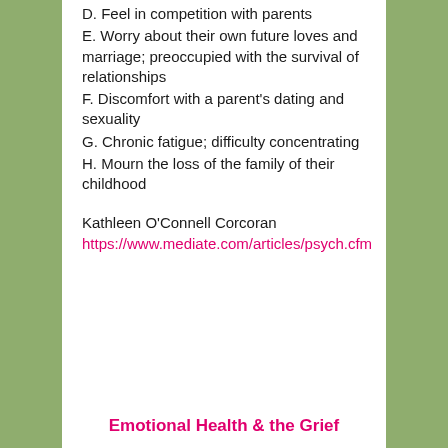D. Feel in competition with parents
E. Worry about their own future loves and marriage; preoccupied with the survival of relationships
F. Discomfort with a parent's dating and sexuality
G. Chronic fatigue; difficulty concentrating
H. Mourn the loss of the family of their childhood
Kathleen O'Connell Corcoran
https://www.mediate.com/articles/psych.cfm
Emotional Health & the Grief